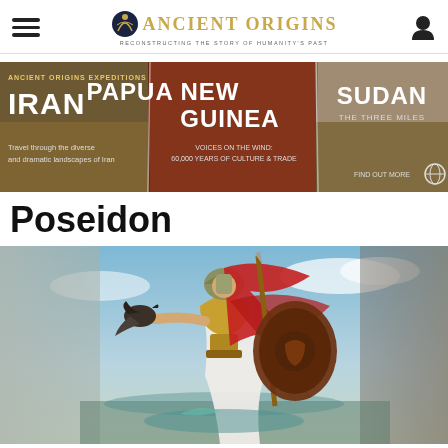Ancient Origins — Reconstructing the story of humanity's past
[Figure (infographic): Ancient Origins Expeditions banner ad showing three travel destinations: IRAN ('Travel through the diverse and dramatic landscapes of Iran'), PAPUA NEW GUINEA ('Voices on the Wind: 60,000 Years of Culture & Trade'), and SUDAN ('The Three Miles'). Each section has a corresponding background photo of the destination.]
Poseidon
[Figure (illustration): Digital fantasy illustration of a female warrior in ancient Greek armor with a red cape/plume helmet, holding a spear and shield, with a bird (crow or raven) perched on her outstretched arm, set against a blue sky background. The figure appears to be Athena.]